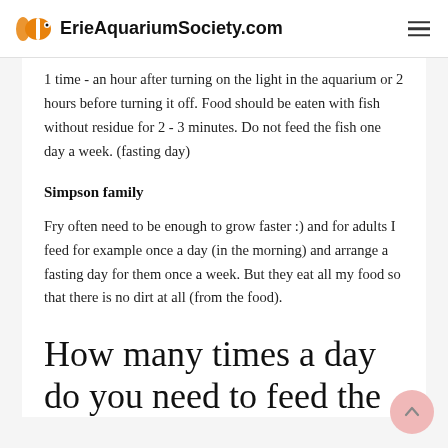ErieAquariumSociety.com
1 time - an hour after turning on the light in the aquarium or 2 hours before turning it off. Food should be eaten with fish without residue for 2 - 3 minutes. Do not feed the fish one day a week. (fasting day)
Simpson family
Fry often need to be enough to grow faster :) and for adults I feed for example once a day (in the morning) and arrange a fasting day for them once a week. But they eat all my food so that there is no dirt at all (from the food).
How many times a day do you need to feed the